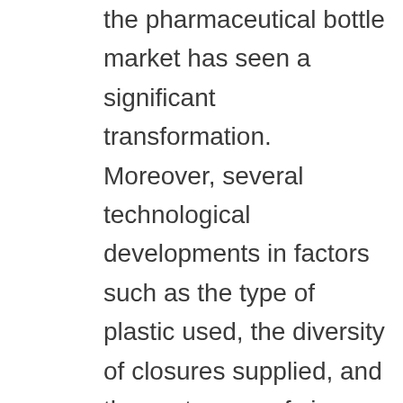the pharmaceutical bottle market has seen a significant transformation. Moreover, several technological developments in factors such as the type of plastic used, the diversity of closures supplied, and the vast range of sizes have positively impacted sales in the pharmaceutical plastic bottle market. Plastic bottles are increasingly being used in the industry for aseptic filling and packaging. Market vendors in various regions offer aseptic bottle filling and packaging services. For instance, LSNE provides aseptic dropper bottle filling. The company has an automated filling